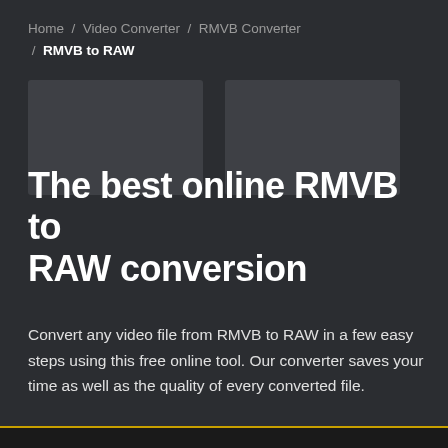Home / Video Converter / RMVB Converter / RMVB to RAW
[Figure (illustration): Two dark gray placeholder thumbnail boxes side by side]
The best online RMVB to RAW conversion
Convert any video file from RMVB to RAW in a few easy steps using this free online tool. Our converter saves your time as well as the quality of every converted file.